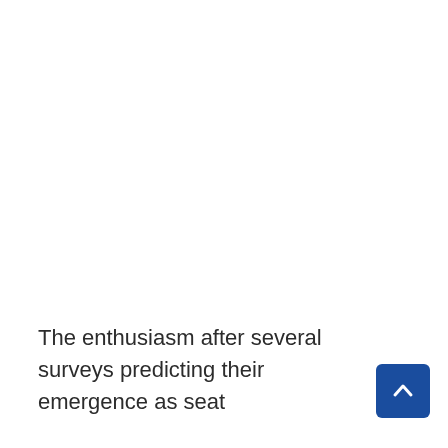The enthusiasm after several surveys predicting their emergence as seat
[Figure (other): Blue scroll-to-top button with upward chevron arrow icon]